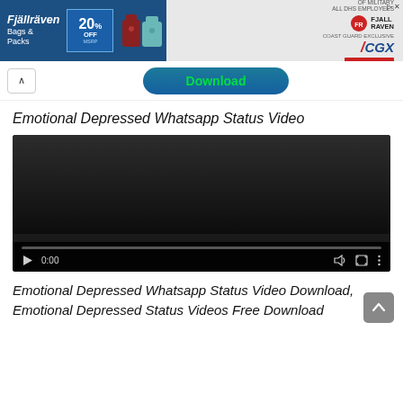[Figure (screenshot): Advertisement banner for Fjällräven bags & packs with 20% off MSRP, showing backpacks, and CGX military discount shop now button]
[Figure (screenshot): Partial view of a Download button in teal/dark blue rounded rectangle with green text]
Emotional Depressed Whatsapp Status Video
[Figure (screenshot): Embedded video player showing a dark/black screen at 0:00 with playback controls: play button, timestamp 0:00, volume icon, fullscreen icon, more options icon, and a progress bar]
Emotional Depressed Whatsapp Status Video Download, Emotional Depressed Status Videos Free Download